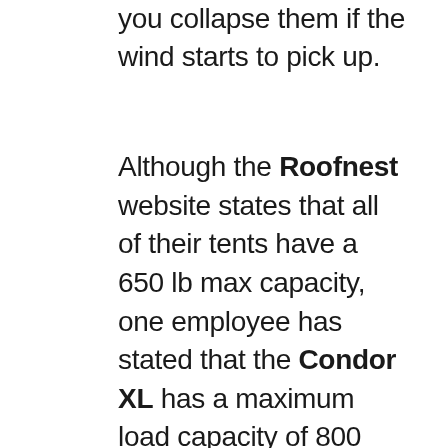you collapse them if the wind starts to pick up.
Although the Roofnest website states that all of their tents have a 650 lb max capacity, one employee has stated that the Condor XL has a maximum load capacity of 800 lbs. We're inclined to believe this given that the Condor XL has an aluminum honeycomb floor, unlike the fiberglass-reinforced bottoms on models like the Sparrow. Most importantly, we hope that this assertion is correct, as 650 lbs is a bit insufficient for a tent that's advertised as being large enough to accommodate 4 people. In any case, the iKamper models do have the upper hand on Roofnest here with a rugged 900 lb capacity.